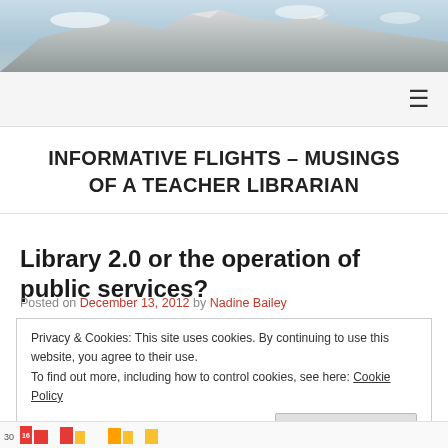[Figure (photo): Mountain landscape header image with snow-capped peaks and cloudy sky]
INFORMATIVE FLIGHTS – MUSINGS OF A TEACHER LIBRARIAN
Library 2.0 or the operation of public services?
Posted on December 13, 2012 by Nadine Bailey
Privacy & Cookies: This site uses cookies. By continuing to use this website, you agree to their use.
To find out more, including how to control cookies, see here: Cookie Policy
Close and accept
[Figure (bar-chart): Partial bar chart visible at bottom of page]